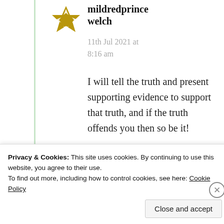mildredprince welch
11th Jul 2021 at 8:16 am
I will tell the truth and present supporting evidence to support that truth, and if the truth offends you then so be it!
Like
Privacy & Cookies: This site uses cookies. By continuing to use this website, you agree to their use.
To find out more, including how to control cookies, see here: Cookie Policy
Close and accept